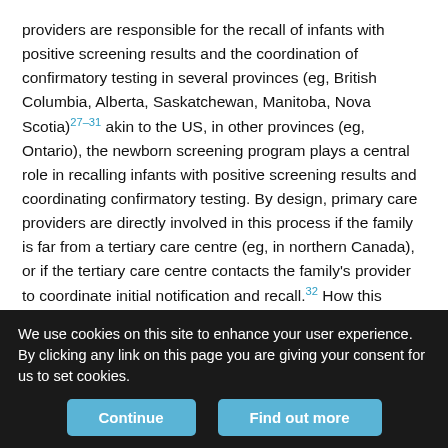providers are responsible for the recall of infants with positive screening results and the coordination of confirmatory testing in several provinces (eg, British Columbia, Alberta, Saskatchewan, Manitoba, Nova Scotia)27–31 akin to the US, in other provinces (eg, Ontario), the newborn screening program plays a central role in recalling infants with positive screening results and coordinating confirmatory testing. By design, primary care providers are directly involved in this process if the family is far from a tertiary care centre (eg, in northern Canada), or if the tertiary care centre contacts the family's provider to coordinate initial notification and recall.32 How this system of care is operating in real time is not well understood.
Given the known implementation barriers that have been reported in
We use cookies on this site to enhance your user experience. By clicking any link on this page you are giving your consent for us to set cookies.